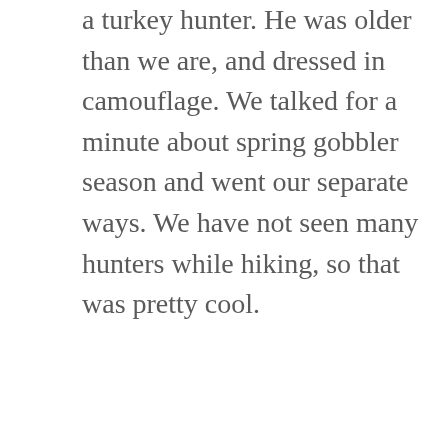a turkey hunter. He was older than we are, and dressed in camouflage. We talked for a minute about spring gobbler season and went our separate ways. We have not seen many hunters while hiking, so that was pretty cool.
Also along the road were several small streams coming out of the rocks on the uphill side of the trail. At the first big one to cross the trail, we stopped for a break and I soaked my feet for a while. This was a life-changing experience. The water was cold and my feet were hot and sore. It was wonderfully reenergizing.